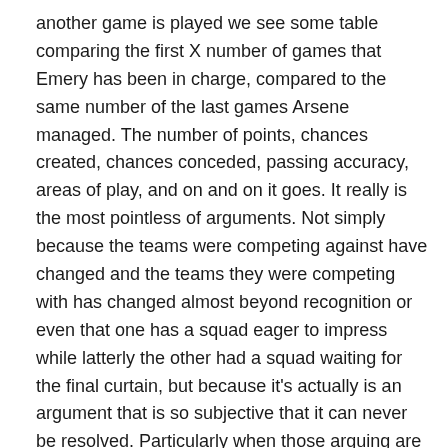another game is played we see some table comparing the first X number of games that Emery has been in charge, compared to the same number of the last games Arsene managed. The number of points, chances created, chances conceded, passing accuracy, areas of play, and on and on it goes. It really is the most pointless of arguments. Not simply because the teams were competing against have changed and the teams they were competing with has changed almost beyond recognition or even that one has a squad eager to impress while latterly the other had a squad waiting for the final curtain, but because it's actually is an argument that is so subjective that it can never be resolved. Particularly when those arguing are so invested in being right, that they have no interest in hearing the other point of view.